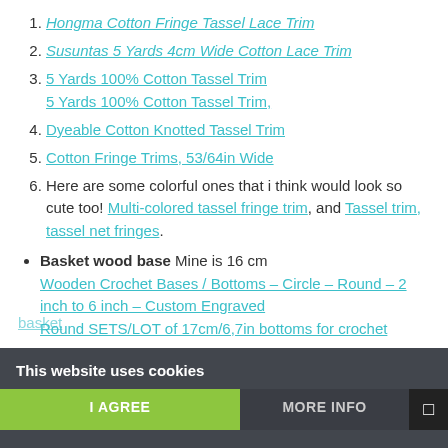1. Hongma Cotton Fringe Tassel Lace Trim
2. Susuntas 5 Yards 4cm Wide Cotton Lace Trim
3. 5 Yards 100% Cotton Tassel Trim
5 Yards 100% Cotton Tassel Trim,
4. Dyeable Cotton Knotted Tassel Trim
5. Cotton Fringe Trims, 53/64in Wide
6. Here are some colorful ones that i think would look so cute too! Multi-colored tassel fringe trim, and Tassel trim, tassel net fringes.
Basket wood base Mine is 16 cm
Wooden Crochet Bases / Bottoms – Circle – Round – 2 inch to 6 inch – Custom Engraved
Round SETS/LOT of 17cm/6,7in bottoms for crochet
This website uses cookies
I AGREE   MORE INFO